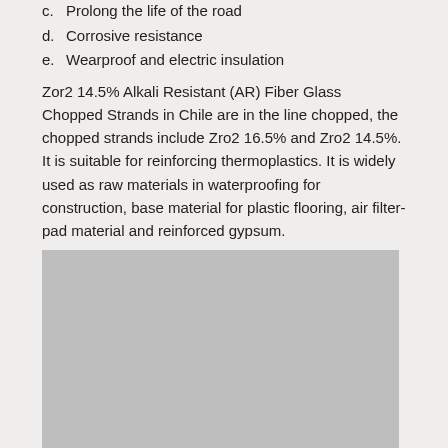c.  Prolong the life of the road
d.  Corrosive resistance
e.  Wearproof and electric insulation
Zor2 14.5% Alkali Resistant (AR) Fiber Glass Chopped Strands in Chile are in the line chopped, the chopped strands include Zro2 16.5% and Zro2 14.5%. It is suitable for reinforcing thermoplastics. It is widely used as raw materials in waterproofing for construction, base material for plastic flooring, air filter-pad material and reinforced gypsum.
[Figure (photo): A large grey rectangular image placeholder, likely a product or material photo.]